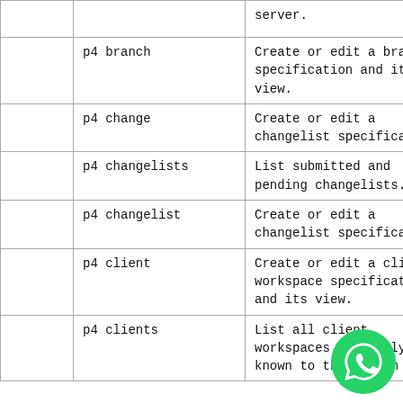|  |  |  |
| --- | --- | --- |
|  |  | server. |
|  | p4 branch | Create or edit a branch specification and its view. |
|  | p4 change | Create or edit a changelist specification. |
|  | p4 changelists | List submitted and pending changelists. |
|  | p4 changelist | Create or edit a changelist specification. |
|  | p4 client | Create or edit a client workspace specification and its view. |
|  | p4 clients | List all client workspaces currently known to the system |